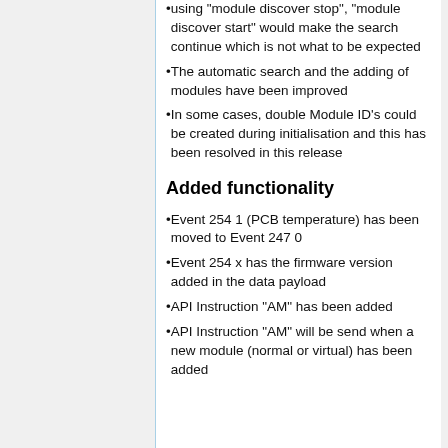using "module discover stop", "module discover start" would make the search continue which is not what to be expected
The automatic search and the adding of modules have been improved
In some cases, double Module ID's could be created during initialisation and this has been resolved in this release
Added functionality
Event 254 1 (PCB temperature) has been moved to Event 247 0
Event 254 x has the firmware version added in the data payload
API Instruction "AM" has been added
API Instruction "AM" will be send when a new module (normal or virtual) has been added